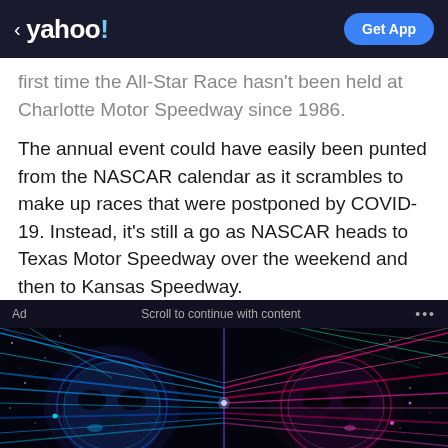< yahoo! | Get App
first time the All-Star Race hasn't been held at Charlotte Motor Speedway since 1986.
The annual event could have easily been punted from the NASCAR calendar as it scrambles to make up races that were postponed by COVID-19. Instead, it's still a go as NASCAR heads to Texas Motor Speedway over the weekend and then to Kansas Speedway.
[Figure (illustration): Advertisement banner showing a sci-fi digital illustration of two AI/robot faces split down the middle — one blue-toned on the left against a starfield, one pink/magenta-toned on the right — with colorful laser beams radiating outward. Text overlay: 'Ad', 'Scroll to continue with content', '...']